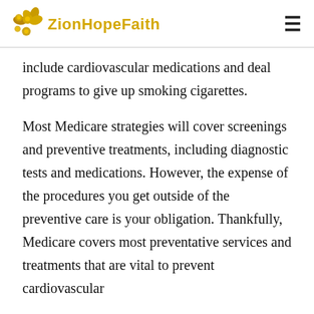ZionHopeFaith
include cardiovascular medications and deal programs to give up smoking cigarettes.
Most Medicare strategies will cover screenings and preventive treatments, including diagnostic tests and medications. However, the expense of the procedures you get outside of the preventive care is your obligation. Thankfully, Medicare covers most preventative services and treatments that are vital to prevent cardiovascular